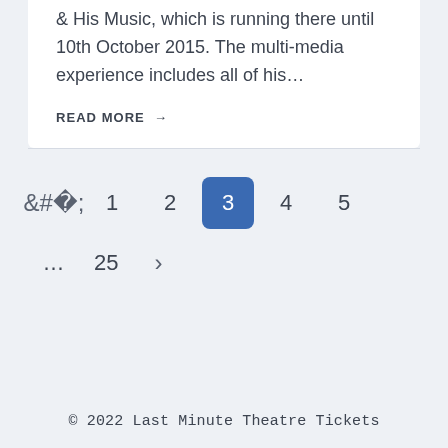& His Music, which is running there until 10th October 2015. The multi-media experience includes all of his…
READ MORE →
‹  1  2  3  4  5  …  25  ›
© 2022 Last Minute Theatre Tickets